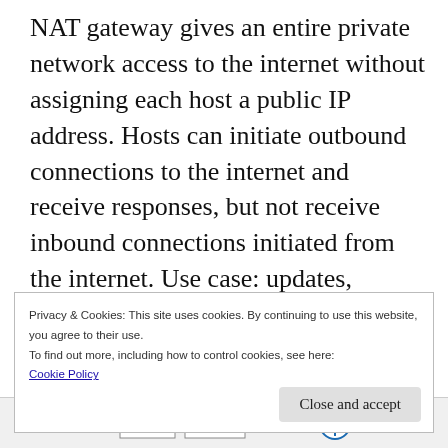NAT gateway gives an entire private network access to the internet without assigning each host a public IP address. Hosts can initiate outbound connections to the internet and receive responses, but not receive inbound connections initiated from the internet. Use case: updates, patches). You can have more than one NAT gateway on a VCN, though a given subnet can route traffic to only a single NAT gateway. This is depicted in figure 4
Privacy & Cookies: This site uses cookies. By continuing to use this website, you agree to their use.
To find out more, including how to control cookies, see here:
Cookie Policy
[Figure (screenshot): Bottom strip showing a partial network diagram with boxes labeled '0.0.0.0/0', 'NAT Gateway', a blue circle with a plus symbol representing internet, a green line, and the word 'Internet' with an arrow graphic.]